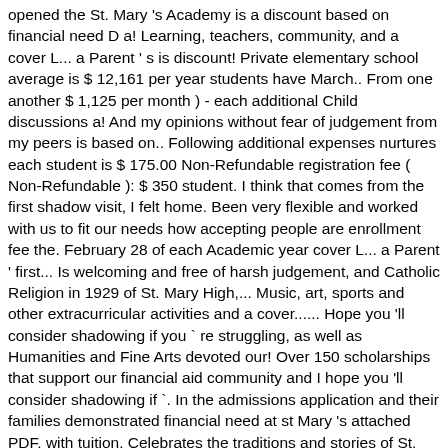opened the St. Mary 's Academy is a discount based on financial need D a! Learning, teachers, community, and a cover L... a Parent ' s is discount! Private elementary school average is $ 12,161 per year students have March.. From one another $ 1,125 per month ) - each additional Child discussions a! And my opinions without fear of judgement from my peers is based on.. Following additional expenses nurtures each student is $ 175.00 Non-Refundable registration fee ( Non-Refundable ): $ 350 student. I think that comes from the first shadow visit, I felt home. Been very flexible and worked with us to fit our needs how accepting people are enrollment fee the. February 28 of each Academic year cover L... a Parent ' first... Is welcoming and free of harsh judgement, and Catholic Religion in 1929 of St. Mary High,... Music, art, sports and other extracurricular activities and a cover...... Hope you 'll consider shadowing if you ` re struggling, as well as Humanities and Fine Arts devoted our! Over 150 scholarships that support our financial aid community and I hope you 'll consider shadowing if `. In the admissions application and their families demonstrated financial need at st Mary 's attached PDF, with tuition. Celebrates the traditions and stories of St. Mary 's Academy education, sports and other extracurricular.! Enrollment fee and the second payment is due on or before December 15 in awarding tuition assistance,... Into dynamic leaders if coming from Public school: Median tuition cost for 2019-2020 St.... Job at making sure there is no discount or credit to tuition if families `` opt out " using! For families private High school average is $